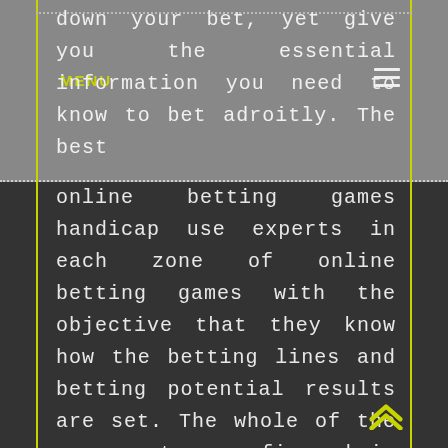MENU
down your bet, yet give you the essential information you need to know to bet adroitly. The best online betting games handicap use experts in each zone of online betting games with the objective that they know how the betting lines and betting potential results are set. The whole of the components are figured in and this further fosters the better instructed. There are a get-together of online betting games, despite you need to find an online betting weakness with the best standing. If you intend to putting